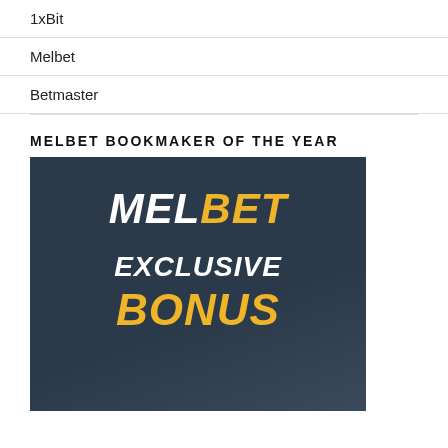1xBit
Melbet
Betmaster
MELBET BOOKMAKER OF THE YEAR
[Figure (illustration): Melbet promotional banner with dark blue background showing 'MELBET' logo in white and yellow bold italic font, followed by 'EXCLUSIVE BONUS' text in white and yellow bold italic font]